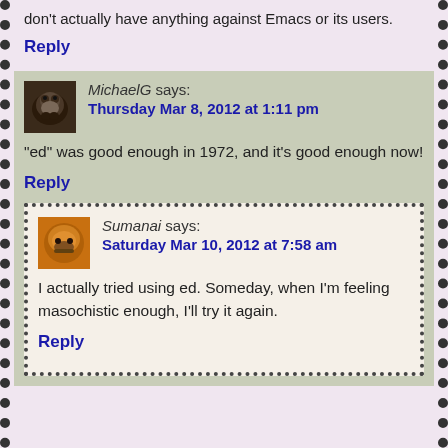don't actually have anything against Emacs or its users.
Reply
MichaelG says: Thursday Mar 8, 2012 at 1:11 pm
"ed" was good enough in 1972, and it's good enough now!
Reply
Sumanai says: Saturday Mar 10, 2012 at 7:58 am
I actually tried using ed. Someday, when I'm feeling masochistic enough, I'll try it again.
Reply